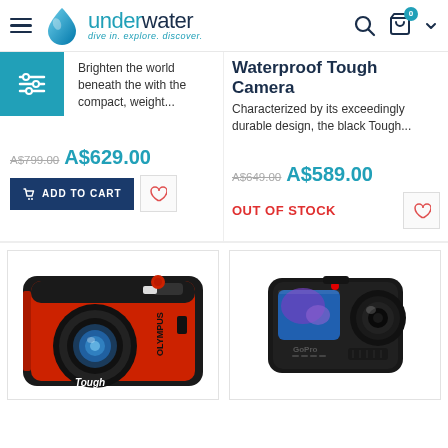underwater — dive in. explore. discover.
Strobe — Brighten the world beneath the with the compact, weight...
Old price: A$799.00 Sale price: A$629.00
Waterproof Tough Camera — Characterized by its exceedingly durable design, the black Tough...
Old price: A$649.00 Sale price: A$589.00
ADD TO CART
OUT OF STOCK
[Figure (photo): Red Olympus Tough waterproof compact camera]
[Figure (photo): Black GoPro action camera]